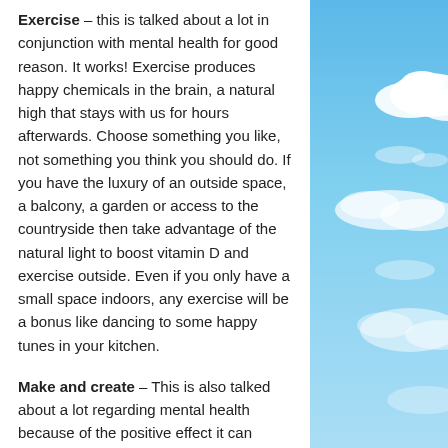Exercise – this is talked about a lot in conjunction with mental health for good reason. It works! Exercise produces happy chemicals in the brain, a natural high that stays with us for hours afterwards. Choose something you like, not something you think you should do. If you have the luxury of an outside space, a balcony, a garden or access to the countryside then take advantage of the natural light to boost vitamin D and exercise outside. Even if you only have a small space indoors, any exercise will be a bonus like dancing to some happy tunes in your kitchen.
Make and create – This is also talked about a lot regarding mental health because of the positive effect it can
[Figure (photo): Blue sky with white clouds, partial view on the right side of the page]